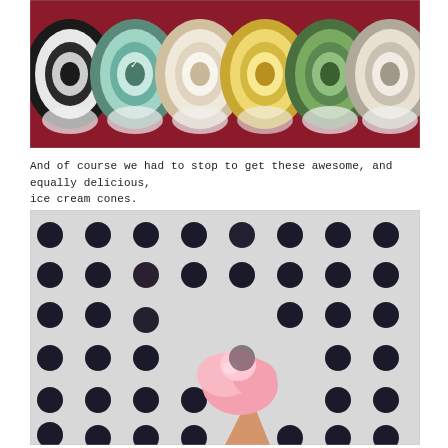[Figure (photo): Top-down view of multiple colorful ice cream tubs with swirled flavors including teal, white, yellow, green, and maroon colors]
And of course we had to stop to get these awesome, and equally delicious, ice cream cones.
[Figure (photo): Close-up of a pink ice cream cone held up against a white perforated metal wall with circular holes arranged in a grid pattern]